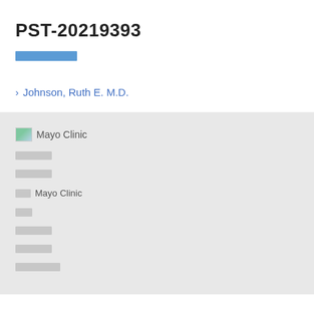PST-20219393
░░░░░░░ (redacted blue link)
› Johnson, Ruth E. M.D.
[Figure (logo): Mayo Clinic logo image placeholder]
░░░░ (redacted gray)
░░░░ (redacted gray)
░░ Mayo Clinic
░░ (redacted gray)
░░░░ (redacted gray)
░░░░ (redacted gray)
░░░░░ (redacted gray)